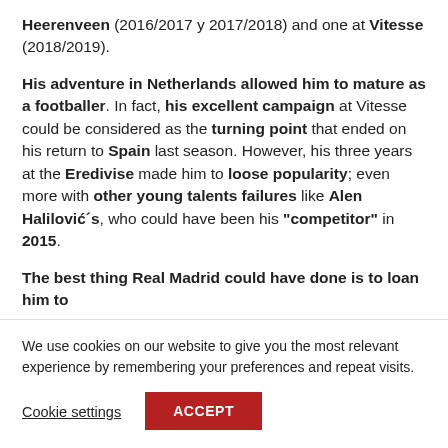Heerenveen (2016/2017 y 2017/2018) and one at Vitesse (2018/2019).
His adventure in Netherlands allowed him to mature as a footballer. In fact, his excellent campaign at Vitesse could be considered as the turning point that ended on his return to Spain last season. However, his three years at the Eredivise made him to loose popularity; even more with other young talents failures like Alen Halilović´s, who could have been his "competitor" in 2015.
The best thing Real Madrid could have done is to loan him to
We use cookies on our website to give you the most relevant experience by remembering your preferences and repeat visits.
Cookie settings
ACCEPT